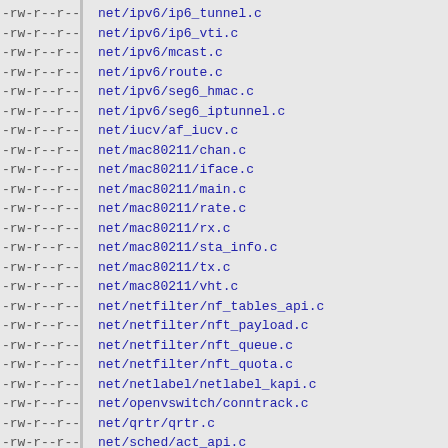-rw-r--r--  net/ipv6/ip6_tunnel.c
-rw-r--r--  net/ipv6/ip6_vti.c
-rw-r--r--  net/ipv6/mcast.c
-rw-r--r--  net/ipv6/route.c
-rw-r--r--  net/ipv6/seg6_hmac.c
-rw-r--r--  net/ipv6/seg6_iptunnel.c
-rw-r--r--  net/iucv/af_iucv.c
-rw-r--r--  net/mac80211/chan.c
-rw-r--r--  net/mac80211/iface.c
-rw-r--r--  net/mac80211/main.c
-rw-r--r--  net/mac80211/rate.c
-rw-r--r--  net/mac80211/rx.c
-rw-r--r--  net/mac80211/sta_info.c
-rw-r--r--  net/mac80211/tx.c
-rw-r--r--  net/mac80211/vht.c
-rw-r--r--  net/netfilter/nf_tables_api.c
-rw-r--r--  net/netfilter/nft_payload.c
-rw-r--r--  net/netfilter/nft_queue.c
-rw-r--r--  net/netfilter/nft_quota.c
-rw-r--r--  net/netlabel/netlabel_kapi.c
-rw-r--r--  net/openvswitch/conntrack.c
-rw-r--r--  net/qrtr/qrtr.c
-rw-r--r--  net/sched/act_api.c
-rw-r--r--  net/sched/act_bpf.c